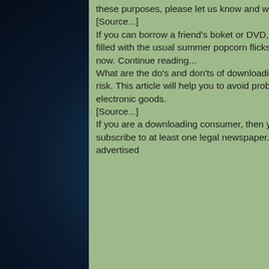We have used your personal information for these purposes, please let us know and we'll get it to stop.
[Source...]
If you can borrow a friend's boket or DVD, it's time to borrow a new movie. With a theater season mostly filled with the usual summer popcorn flicks, there are a number of interesting films playing in theaters right now. Continue reading...
What are the do's and don'ts of downloading music? Downloading music is not a crime, but it can put you at risk. This article will help you to avoid problems that might arise from downloading music and other electronic goods.
[Source...]
If you are a downloading consumer, then you can use the great Newsbin to download anonymously, or subscribe to at least one legal newspaper. We have gotten a few spam emails in the past when we advertised